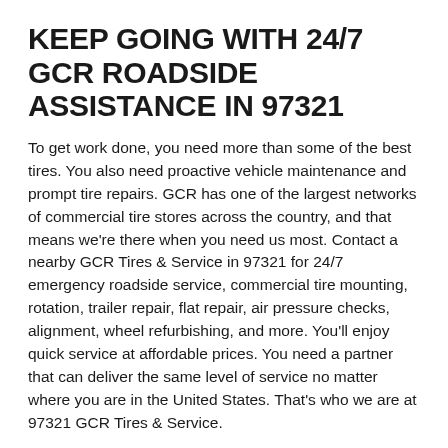KEEP GOING WITH 24/7 GCR ROADSIDE ASSISTANCE IN 97321
To get work done, you need more than some of the best tires. You also need proactive vehicle maintenance and prompt tire repairs. GCR has one of the largest networks of commercial tire stores across the country, and that means we're there when you need us most. Contact a nearby GCR Tires & Service in 97321 for 24/7 emergency roadside service, commercial tire mounting, rotation, trailer repair, flat repair, air pressure checks, alignment, wheel refurbishing, and more. You'll enjoy quick service at affordable prices. You need a partner that can deliver the same level of service no matter where you are in the United States. That's who we are at 97321 GCR Tires & Service.
LOCATIONS BY ZIP CODES
Locations / Oregon / Albany / 97321